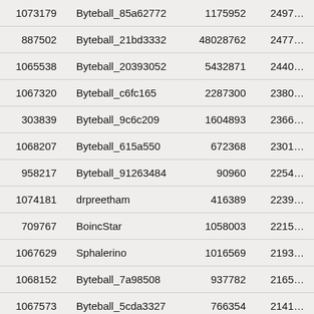| 1073179 | Byteball_85a62772 | 1175952 | 2497… |
| 887502 | Byteball_21bd3332 | 48028762 | 2477… |
| 1065538 | Byteball_20393052 | 5432871 | 2440… |
| 1067320 | Byteball_c6fc165 | 2287300 | 2380… |
| 303839 | Byteball_9c6c209 | 1604893 | 2366… |
| 1068207 | Byteball_615a550 | 672368 | 2301… |
| 958217 | Byteball_91263484 | 90960 | 2254… |
| 1074181 | drpreetham | 416389 | 2239… |
| 709767 | BoincStar | 1058003 | 2215… |
| 1067629 | Sphalerino | 1016569 | 2193… |
| 1068152 | Byteball_7a98508 | 937782 | 2165… |
| 1067573 | Byteball_5cda3327 | 766354 | 2141… |
| 1071988 | Byteball_11352092 | 580123 | 2137… |
| 1072752 | Byteball_69642602 | 1769346 | 2135… |
| 1067929 | adamseve303 | 1336937 | 2096… |
| 1068006 | Byteball_7aa4389 | 394730 | 2084… |